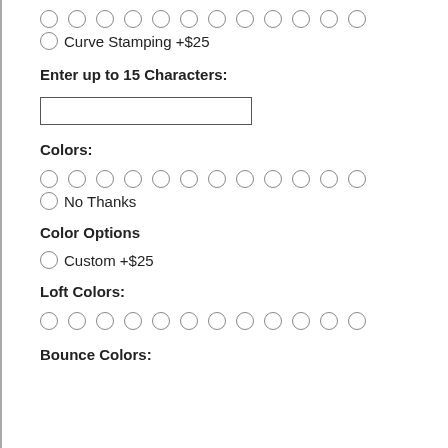○ ○ ○ ○ ○ ○ ○ ○ ○ ○ ○ ○ (radio buttons row)
○ Curve Stamping +$25
Enter up to 15 Characters:
[Figure (other): Empty text input box]
Colors:
○ ○ ○ ○ ○ ○ ○ ○ ○ ○ ○ ○ (radio buttons row)
○ No Thanks
Color Options
○ Custom +$25
Loft Colors:
○ ○ ○ ○ ○ ○ ○ ○ ○ ○ ○ ○ (radio buttons row)
Bounce Colors: